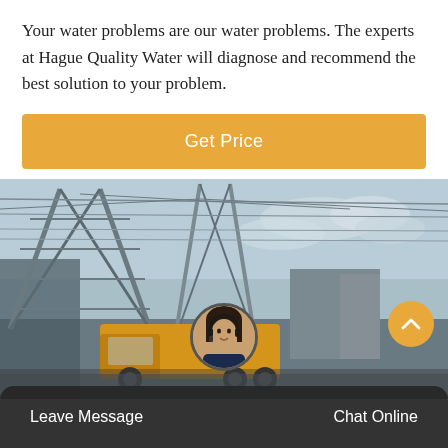Your water problems are our water problems. The experts at Hague Quality Water will diagnose and recommend the best solution to your problem.
[Figure (other): Orange button with text 'Get Price' on orange background]
[Figure (photo): Industrial construction site photo showing steel lattice tower structures, a yellow truck, and buildings under overcast sky]
Leave Message   Chat Online